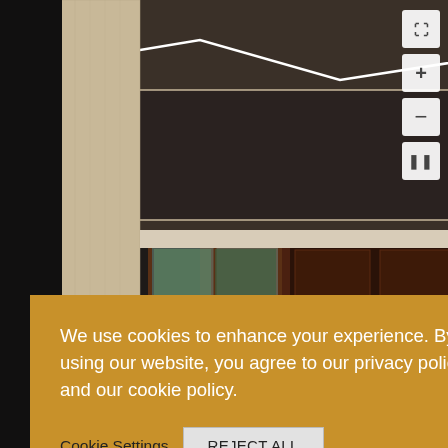[Figure (photo): Interior rendering of a luxury hotel lobby or residence featuring a coffered ceiling with linear LED lighting, dark wood paneled walls, large windows with views of greenery, a table lamp on a dark wooden console, and a camel-colored armchair. UI zoom/pause controls are visible in the top-right corner.]
We use cookies to enhance your experience. By using our website, you agree to our privacy policy and our cookie policy.
Cookie Settings  REJECT ALL
ACCEPT ALL